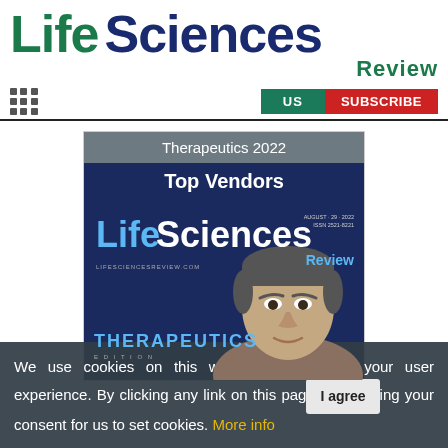[Figure (logo): Life Sciences Review logo with 'Life' in green, 'Sciences' in dark navy, and 'Review' in green below]
US  SUBSCRIBE
[Figure (screenshot): Magazine card showing 'Therapeutics 2022 Top Vendors' header with Life Sciences Review magazine cover featuring a man's face and THERAPEUTICS text]
We use cookies on this website to enhance your user experience. By clicking any link on this page you are giving your consent for us to set cookies. More info